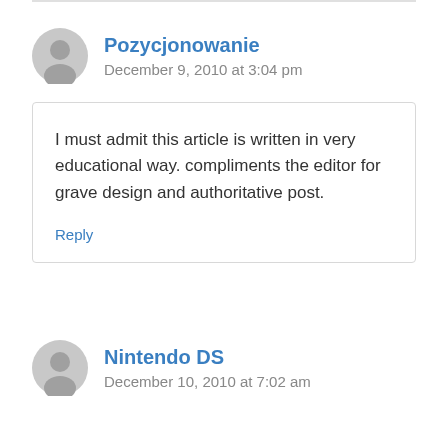Pozycjonowanie
December 9, 2010 at 3:04 pm
I must admit this article is written in very educational way. compliments the editor for grave design and authoritative post.
Reply
Nintendo DS
December 10, 2010 at 7:02 am